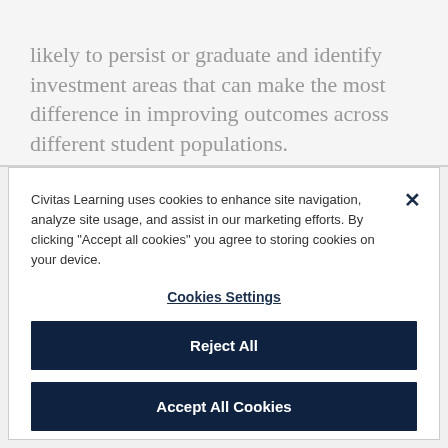likely to persist or graduate and identify investment areas that can make the most difference in improving outcomes across different student populations.
Civitas Learning uses cookies to enhance site navigation, analyze site usage, and assist in our marketing efforts. By clicking "Accept all cookies" you agree to storing cookies on your device.
Cookies Settings
Reject All
Accept All Cookies